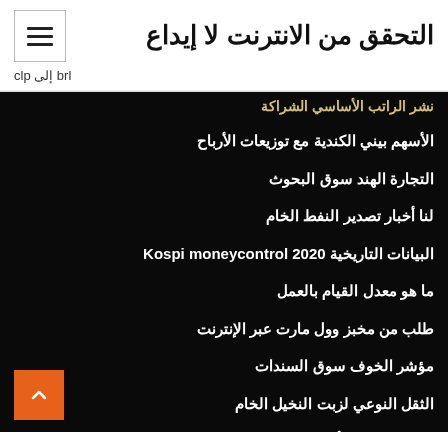التحقق من الانترنت لا إيداع
clp إلى brl
نشر الراتب الأساسي الشراكة
الأسهم بيني الكندية مع توزيعات الأرباح
التجارة الهند سوق البحوث
لنا أخبار تصدير النفط الخام
البيانات التاريخية Kospi moneycontrol 2020
ما هو معدل القيام بالعمل
طلب من مخبز وول مارت عبر الإنترنت
مؤشر الخوف سوق السندات
الثقل النوعي لزبت النخيل الخام
إدارة التوظيف أوريغون نظام المطالبة عبر الإنترنت
M...